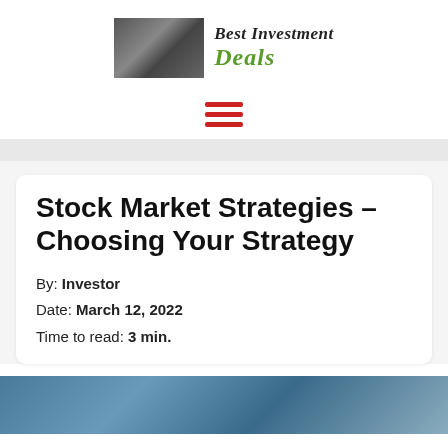[Figure (logo): Best Investment Deals logo with photo of hands exchanging money and green/black text]
[Figure (other): Red hamburger menu icon (three horizontal red bars)]
Stock Market Strategies – Choosing Your Strategy
By: Investor
Date: March 12, 2022
Time to read: 3 min.
[Figure (photo): Partial photo visible at bottom of page, appears to show a person]